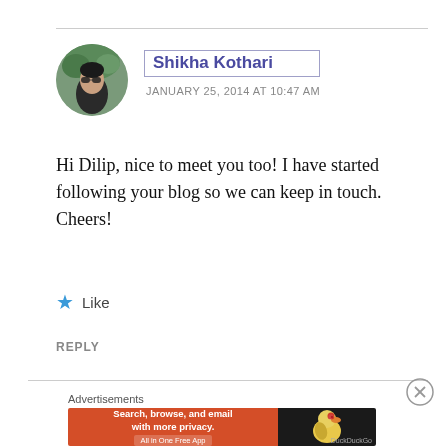Shikha Kothari
JANUARY 25, 2014 AT 10:47 AM
Hi Dilip, nice to meet you too! I have started following your blog so we can keep in touch. Cheers!
Like
REPLY
Advertisements
[Figure (infographic): DuckDuckGo advertisement banner: orange left panel saying 'Search, browse, and email with more privacy. All in One Free App' and dark right panel with DuckDuckGo duck logo]